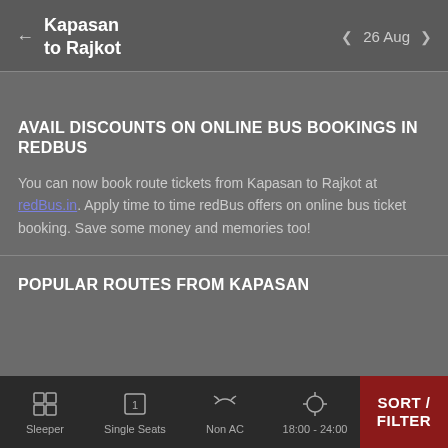Kapasan to Rajkot  ←  26 Aug  ‹ ›
AVAIL DISCOUNTS ON ONLINE BUS BOOKINGS IN REDBUS
You can now book route tickets from Kapasan to Rajkot at redBus.in. Apply time to time redBus offers on online bus ticket booking. Save some money and memories too!
POPULAR ROUTES FROM KAPASAN
Sleeper  Single Seats  Non AC  18:00 - 24:00  SORT / FILTER